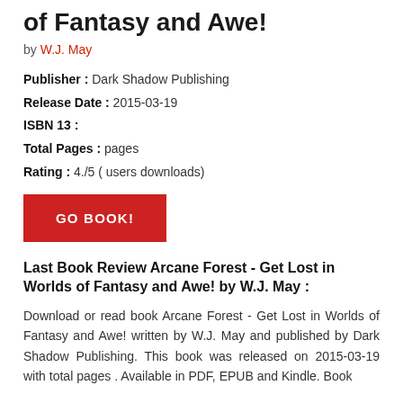of Fantasy and Awe!
by W.J. May
Publisher : Dark Shadow Publishing
Release Date : 2015-03-19
ISBN 13 :
Total Pages : pages
Rating : 4./5 ( users downloads)
[Figure (other): Red button labeled GO BOOK!]
Last Book Review Arcane Forest - Get Lost in Worlds of Fantasy and Awe! by W.J. May :
Download or read book Arcane Forest - Get Lost in Worlds of Fantasy and Awe! written by W.J. May and published by Dark Shadow Publishing. This book was released on 2015-03-19 with total pages . Available in PDF, EPUB and Kindle. Book